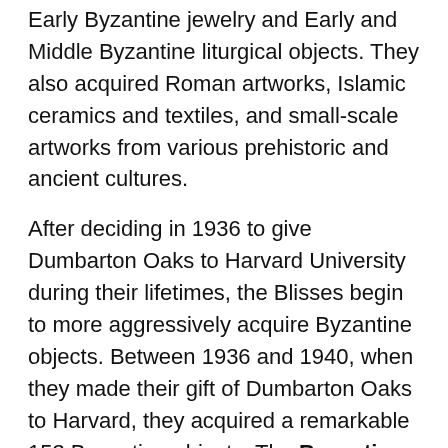Early Byzantine jewelry and Early and Middle Byzantine liturgical objects. They also acquired Roman artworks, Islamic ceramics and textiles, and small-scale artworks from various prehistoric and ancient cultures.
After deciding in 1936 to give Dumbarton Oaks to Harvard University during their lifetimes, the Blisses begin to more aggressively acquire Byzantine objects. Between 1936 and 1940, when they made their gift of Dumbarton Oaks to Harvard, they acquired a remarkable 153 Byzantine objects. The Byzantine Gallery, constructed in 1939–40, was built to the Blisses' design by the Washington architect Thomas T. Waterman as the showcase for their Byzantine art. With this, the Blisses moved beyond the private collectors' passion to the prescient establishment of a specialized collection that appealed equally to amateurs and research scholars alike. The Blisses